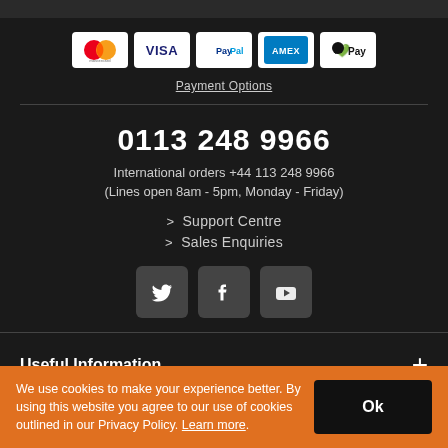[Figure (infographic): Payment method icons: Mastercard, VISA, PayPal, AMEX, Apple Pay]
Payment Options
0113 248 9966
International orders +44 113 248 9966
(Lines open 8am - 5pm, Monday - Friday)
> Support Centre
> Sales Enquiries
[Figure (infographic): Social media icons: Twitter, Facebook, YouTube]
Useful Information
We use cookies to make your experience better. By using this website you agree to our use of cookies outlined in our Privacy Policy. Learn more.